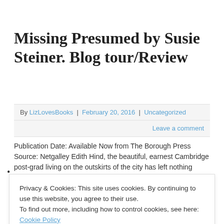Missing Presumed by Susie Steiner. Blog tour/Review
By LizLovesBooks | February 20, 2016 | Uncategorized
Leave a comment
Publication Date: Available Now from The Borough Press Source: Netgalley Edith Hind, the beautiful, earnest Cambridge post-grad living on the outskirts of the city has left nothing…
Privacy & Cookies: This site uses cookies. By continuing to use this website, you agree to their use.
To find out more, including how to control cookies, see here: Cookie Policy
Close and accept